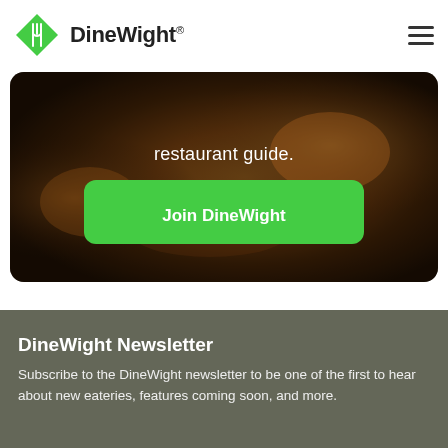DineWight®
[Figure (photo): Hero banner with food background (pasta/dumplings on dark plate) with semi-transparent dark overlay showing text 'restaurant guide.' and a green 'Join DineWight' button]
restaurant guide.
Join DineWight
DineWight Newsletter
Subscribe to the DineWight newsletter to be one of the first to hear about new eateries, features coming soon, and more.